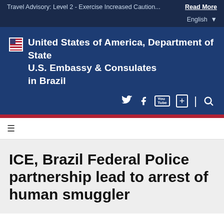Travel Advisory: Level 2 - Exercise Increased Caution... Read More
English
[Figure (logo): United States of America, Department of State logo with US flag icon, followed by text: U.S. Embassy & Consulates in Brazil]
[Figure (screenshot): Social media and navigation icons: Twitter, Facebook, YouTube, plus/add, search]
≡ (hamburger menu icon)
ICE, Brazil Federal Police partnership lead to arrest of human smuggler
Home / News & Events / ICE, Brazil Federal Police partnership lead to arrest of human smuggler